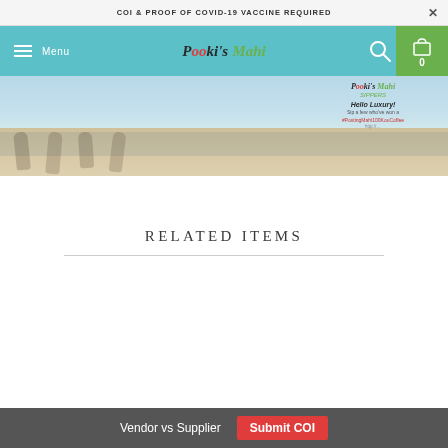COI & PROOF OF COVID-19 VACCINE REQUIRED ×
Menu  Pooki's Mahi  0
[Figure (photo): Banner image showing a sandy beach scene with a Pooki's Mahi logo overlay, Hello Luxury! text, social media hashtag #PostingMahi100KouCoffee, and a URL in red/black text on the right side.]
RELATED ITEMS
Vendor vs Supplier   Submit COI